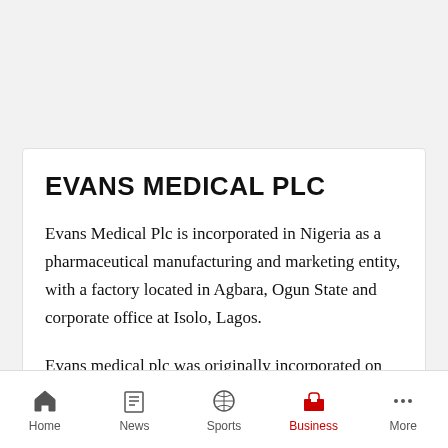EVANS MEDICAL PLC
Evans Medical Plc is incorporated in Nigeria as a pharmaceutical manufacturing and marketing entity, with a factory located in Agbara, Ogun State and corporate office at Isolo, Lagos.
Evans medical plc was originally incorporated on 23rd April 1954 under the name Allen and Hanburys (Nigeria) Limited, a name which is still under display in one of its
Home  News  Sports  Business  More